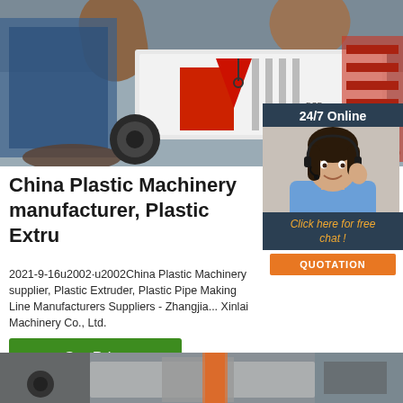[Figure (photo): Industrial machinery photo showing plastic pipe extrusion equipment in a factory setting with large metal pipes and red/white machinery]
[Figure (photo): 24/7 Online customer service panel with a smiling woman wearing a headset, dark navy background, and an orange QUOTATION button and 'Click here for free chat!' text]
China Plastic Machinery manufacturer, Plastic Extru...
2021-9-16u2002·u2002China Plastic Machinery supplier, Plastic Extruder, Plastic Pipe Making Line Manufacturers Suppliers - Zhangjia... Xinlai Machinery Co., Ltd.
[Figure (other): Green 'Get Price' button]
[Figure (photo): Bottom portion of another industrial machinery photo showing equipment in a factory]